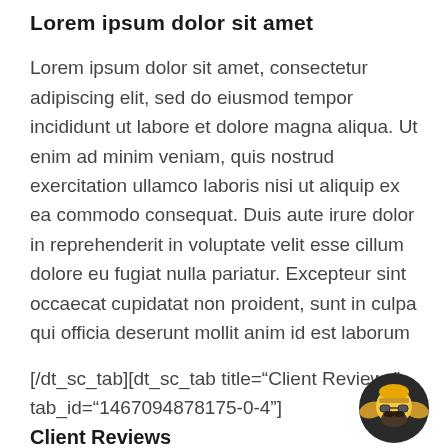Lorem ipsum dolor sit amet
Lorem ipsum dolor sit amet, consectetur adipiscing elit, sed do eiusmod tempor incididunt ut labore et dolore magna aliqua. Ut enim ad minim veniam, quis nostrud exercitation ullamco laboris nisi ut aliquip ex ea commodo consequat. Duis aute irure dolor in reprehenderit in voluptate velit esse cillum dolore eu fugiat nulla pariatur. Excepteur sint occaecat cupidatat non proident, sunt in culpa qui officia deserunt mollit anim id est laborum
[/dt_sc_tab][dt_sc_tab title="Client Reviews" tab_id="1467094878175-0-4"]
Client Reviews
Lorem ipsum dolor sit amet, consectetur